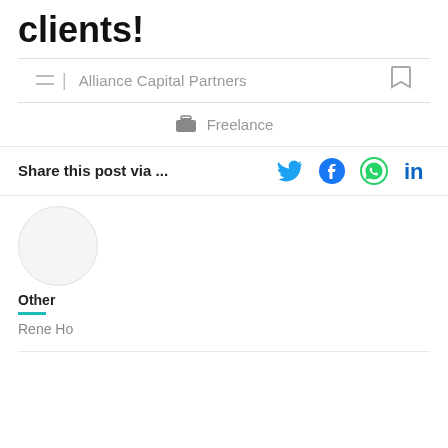clients!
Alliance Capital Partners
Freelance
Share this post via ...
[Figure (other): Author avatar circle placeholder]
Other
Rene Ho